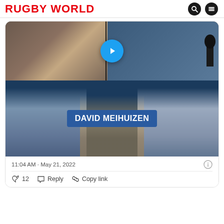RUGBY WORLD
[Figure (screenshot): A tweet card from Rugby World showing a video thumbnail. Top half shows two people (one close-up face, one with headphones at a microphone) with a blue play button overlay. Bottom half shows rugby player David Meihuizen in a blue banner with players in Western Province kit on either side and a player in Cheetahs kit in the center.]
11:04 AM · May 21, 2022
♡ 12   Reply   Copy link